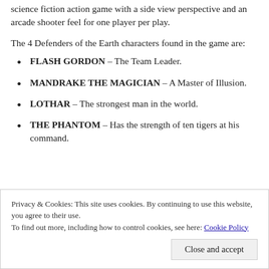science fiction action game with a side view perspective and an arcade shooter feel for one player per play.
The 4 Defenders of the Earth characters found in the game are:
FLASH GORDON – The Team Leader.
MANDRAKE THE MAGICIAN – A Master of Illusion.
LOTHAR – The strongest man in the world.
THE PHANTOM – Has the strength of ten tigers at his command.
Privacy & Cookies: This site uses cookies. By continuing to use this website, you agree to their use.
To find out more, including how to control cookies, see here: Cookie Policy